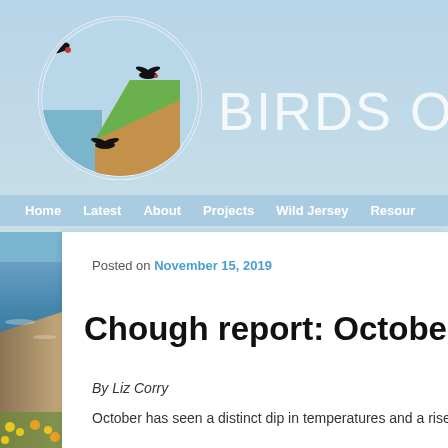[Figure (illustration): Website header with light blue sky background. A circular logo on the left shows illustrated birds (choughs) on clifftops with sea and green grass. Large white text 'BIRDS ON T' (truncated) appears to the right of the logo.]
Home   Latest   About   Projects   Wild Jersey   Resour
Posted on November 15, 2019
Chough report: October 20
By Liz Corry
October has seen a distinct dip in temperatures and a rise in